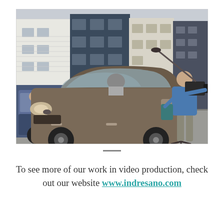[Figure (photo): A film crew member in a blue shirt operates a camera on a tripod on a residential street, filming a tan/brown Subaru sedan with a person in the driver's seat. Another vehicle is partially visible to the left. Colorful multi-story residential buildings line the background street.]
To see more of our work in video production, check out our website www.indresano.com